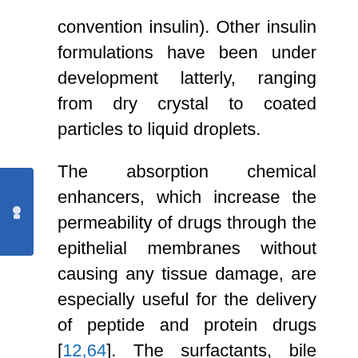convention insulin). Other insulin formulations have been under development latterly, ranging from dry crystal to coated particles to liquid droplets.
The absorption chemical enhancers, which increase the permeability of drugs through the epithelial membranes without causing any tissue damage, are especially useful for the delivery of peptide and protein drugs [12,64]. The surfactants, bile salts and fatty acids have been evaluated as absorption enhancers and, although most of them exhibit permeationenhancing effects, they also produce membrane damage. Polyoxyethylene (PE) oleyl ether also showed good enhancing ability for the peptide. However, sorbitan trioleate, PE sorbitan